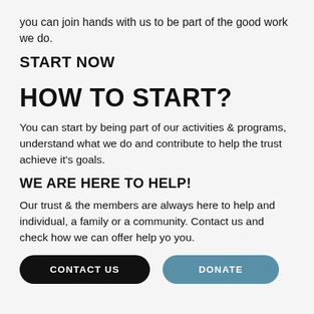you can join hands with us to be part of the good work we do.
START NOW
HOW TO START?
You can start by being part of our activities & programs, understand what we do and contribute to help the trust achieve it's goals.
WE ARE HERE TO HELP!
Our trust & the members are always here to help and individual, a family or a community. Contact us and check how we can offer help yo you.
[Figure (other): Two buttons: 'CONTACT US' (dark/black, rounded) and 'DONATE' (blue, rounded)]